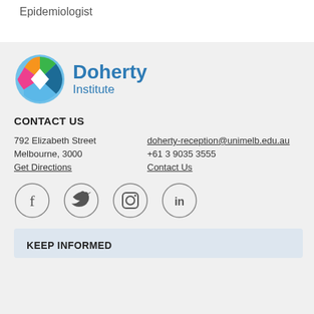Epidemiologist
[Figure (logo): Doherty Institute logo with colorful circular icon and blue text]
CONTACT US
792 Elizabeth Street   doherty-reception@unimelb.edu.au
Melbourne, 3000        +61 3 9035 3555
Get Directions         Contact Us
[Figure (infographic): Social media icons in circles: Facebook, Twitter, Instagram, LinkedIn]
KEEP INFORMED